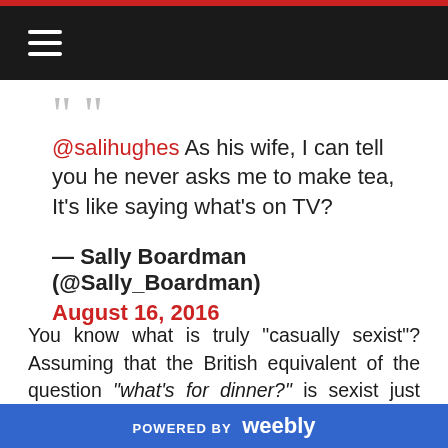Navigation bar with hamburger menu
@salihughes As his wife, I can tell you he never asks me to make tea, It's like saying what's on TV?

— Sally Boardman (@Sally_Boardman)
August 16, 2016
You know what is truly "casually sexist"? Assuming that the British equivalent of the question "what's for dinner?" is sexist just because it's directed at a woman. I personally find it sexist that certain outspoken cycling viewers believe that the implication that someone
POWERED BY weebly